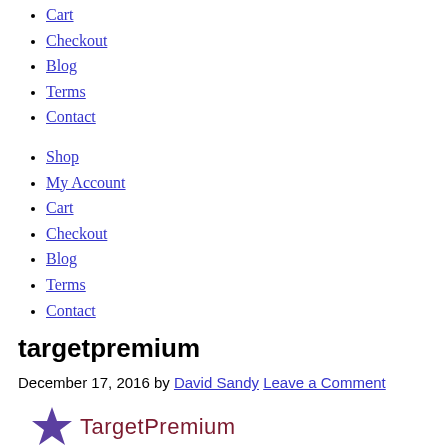Cart
Checkout
Blog
Terms
Contact
Shop
My Account
Cart
Checkout
Blog
Terms
Contact
targetpremium
December 17, 2016 by David Sandy Leave a Comment
[Figure (logo): TargetPremium logo with a purple star icon and dark red text reading TargetPremium]